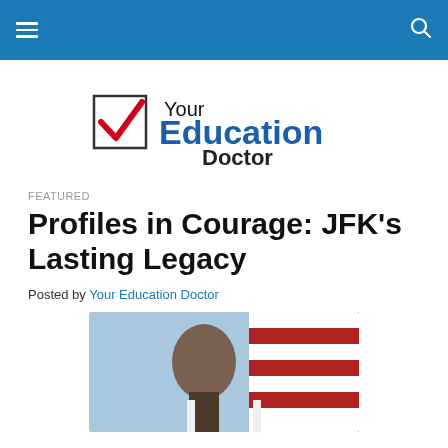Navigation bar with hamburger menu and search icon
[Figure (logo): Your Education Doctor logo with a red checkmark in a box and blue bold text reading 'Your Education Doctor']
FEATURED
Profiles in Courage: JFK’s Lasting Legacy
Posted by Your Education Doctor
[Figure (photo): Photograph of JFK in front of an American flag]